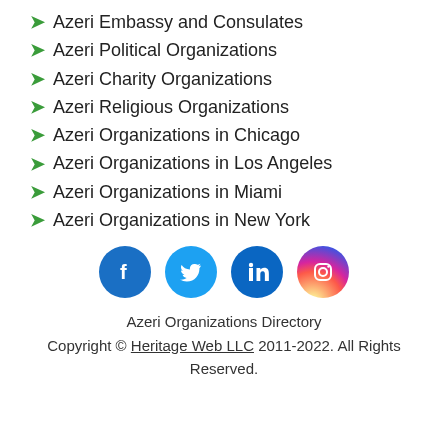Azeri Embassy and Consulates
Azeri Political Organizations
Azeri Charity Organizations
Azeri Religious Organizations
Azeri Organizations in Chicago
Azeri Organizations in Los Angeles
Azeri Organizations in Miami
Azeri Organizations in New York
[Figure (other): Social media icons: Facebook, Twitter, LinkedIn, Instagram]
Azeri Organizations Directory
Copyright © Heritage Web LLC 2011-2022. All Rights Reserved.